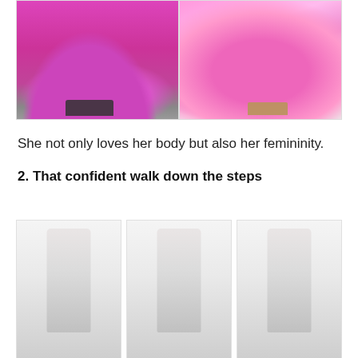[Figure (photo): Side-by-side comparison: left photo shows lower half of person in flowing magenta/pink tulle skirt with black sandals on pavement; right is an illustrated/painted version of the same scene with loose pink brushstrokes and tan sandals]
She not only loves her body but also her femininity.
2. That confident walk down the steps
[Figure (photo): Three faded/light photos side by side showing figures walking down steps, very light/washed out appearance]